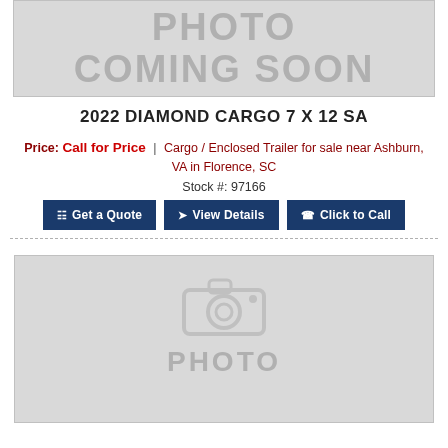[Figure (photo): Photo coming soon placeholder image with text 'PHOTO COMING SOON' on grey background]
2022 DIAMOND CARGO 7 X 12 SA
Price: Call for Price | Cargo / Enclosed Trailer for sale near Ashburn, VA in Florence, SC
Stock #: 97166
Get a Quote | View Details | Click to Call
[Figure (photo): Photo placeholder with camera icon and 'PHOTO' text on grey background]